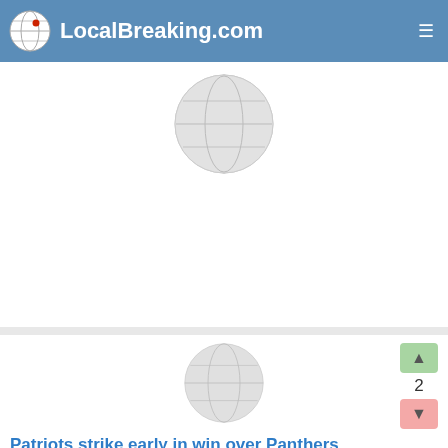LocalBreaking.com
revenues from an already-existing 0.5% sales tax toward any new county-funded capital projects. Continue reading at DelGazette.com. →
Delaware Gazette, 6 days ago · Save in my read list · Options
[Figure (logo): Globe placeholder thumbnail icon]
2
Paying for electricity is money well spent
I just finished paying my electric bill for this past month, and I was comparing the cost of this month's bill from other bills in the past. Continue reading at DelGazette.com. →
Delaware Gazette, 6 days ago · Save in my read list · Options
[Figure (logo): Globe placeholder thumbnail icon]
2
Patriots strike early in win over Panthers
The Olentangy Liberty girls soccer team picked up its second straight win following last week's season-opening draw against rival Olentangy, handling visiting Pickerington North 8-1. Tuesday in Powell. Continue reading at...